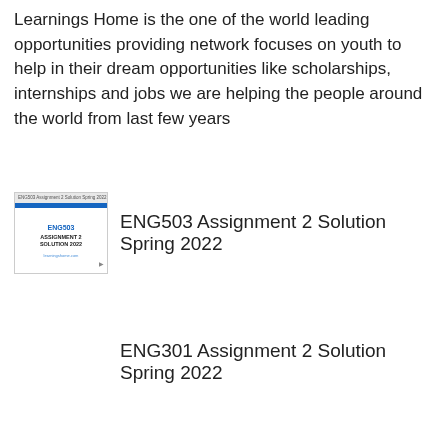Learnings Home is the one of the world leading opportunities providing network focuses on youth to help in their dream opportunities like scholarships, internships and jobs we are helping the people around the world from last few years
[Figure (thumbnail): Thumbnail image of ENG503 Assignment 2 Solution 2022 document cover]
ENG503 Assignment 2 Solution Spring 2022
ENG301 Assignment 2 Solution Spring 2022